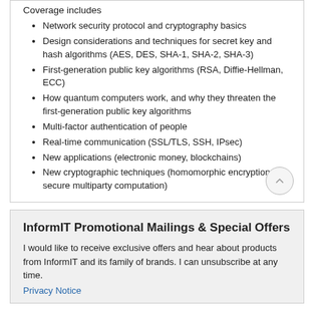Coverage includes
Network security protocol and cryptography basics
Design considerations and techniques for secret key and hash algorithms (AES, DES, SHA-1, SHA-2, SHA-3)
First-generation public key algorithms (RSA, Diffie-Hellman, ECC)
How quantum computers work, and why they threaten the first-generation public key algorithms
Multi-factor authentication of people
Real-time communication (SSL/TLS, SSH, IPsec)
New applications (electronic money, blockchains)
New cryptographic techniques (homomorphic encryption, secure multiparty computation)
InformIT Promotional Mailings & Special Offers
I would like to receive exclusive offers and hear about products from InformIT and its family of brands. I can unsubscribe at any time.
Privacy Notice